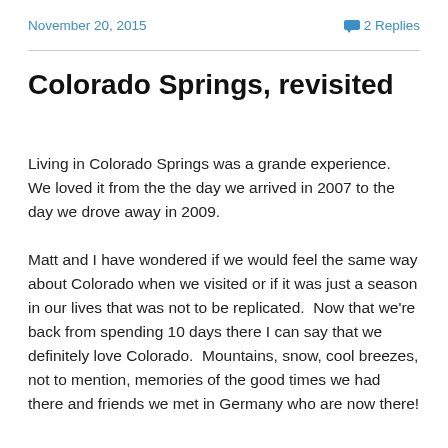November 20, 2015
2 Replies
Colorado Springs, revisited
Living in Colorado Springs was a grande experience.  We loved it from the the day we arrived in 2007 to the day we drove away in 2009.
Matt and I have wondered if we would feel the same way about Colorado when we visited or if it was just a season in our lives that was not to be replicated.  Now that we're back from spending 10 days there I can say that we definitely love Colorado.  Mountains, snow, cool breezes, not to mention, memories of the good times we had there and friends we met in Germany who are now there!